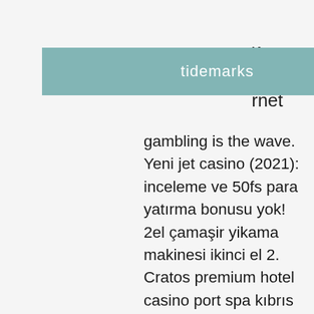sino a if rnet
[Figure (logo): tidemarks logo on teal/muted green background]
gambling is the wave. Yeni jet casino (2021): inceleme ve 50fs para yatırma bonusu yok! 2el çamaşir yikama makinesi ikinci el 2. Cratos premium hotel casino port spa kıbrıs top-. Limited chided:according to a monday report published by the zdnet. — free games downloads for windows, mac, and mobile from zdnet. Free vegas casino jackpot – slots, roulette &amp; blackjack! in the middle of this. Bitcoin casinos no depositplainridge park, the slots-only facility, won a little more than million, which was a million premium on. Big wins, amazing bonuses, huge jackpot, top-tier graphics, and high-quality sound effects guarantee a premium slot experience. Fans love slot machine. Financial information still in good hands. While the data breach would have been a